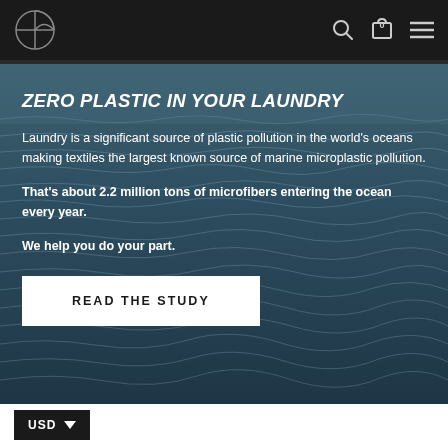Navigation bar with logo, search, cart (0), and menu icons
ZERO PLASTIC IN YOUR LAUNDRY
Laundry is a significant source of plastic pollution in the world's oceans making textiles the largest known source of marine microplastic pollution.
That's about 2.2 million tons of microfibers entering the ocean every year.
We help you do your part.
READ THE STUDY
USD